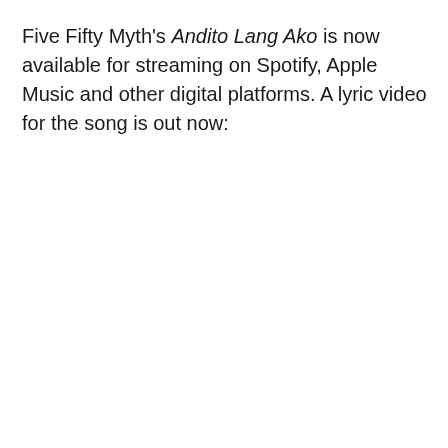Five Fifty Myth's Andito Lang Ako is now available for streaming on Spotify, Apple Music and other digital platforms. A lyric video for the song is out now: